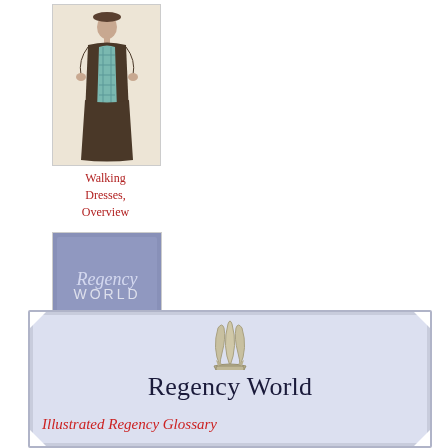[Figure (illustration): A Regency-era woman in a long walking dress with decorative trim, standing against a light background. Historical fashion illustration.]
Walking Dresses, Overview
[Figure (illustration): A blue-toned thumbnail image of the Regency World glossary cover, featuring italic script text 'Regency World glossary' on a periwinkle background with a small emblem.]
reticule
[Figure (illustration): A decorative banner with lavender background and notched corners, featuring a Prince of Wales feathers emblem at top, 'Regency World' in large dark serif text, and 'Illustrated Regency Glossary' in red italic text below.]
Regency World
Illustrated Regency Glossary